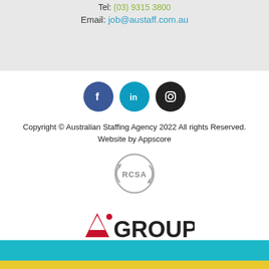Tel: (03) 9315 3800
Email: job@austaff.com.au
[Figure (other): Social media icons: Facebook (blue circle), LinkedIn (teal circle), Instagram (dark circle)]
Copyright © Australian Staffing Agency 2022 All rights Reserved. Website by Appscore
[Figure (logo): RCSA circular logo in grey]
[Figure (logo): Ai GROUP logo in red and dark text]